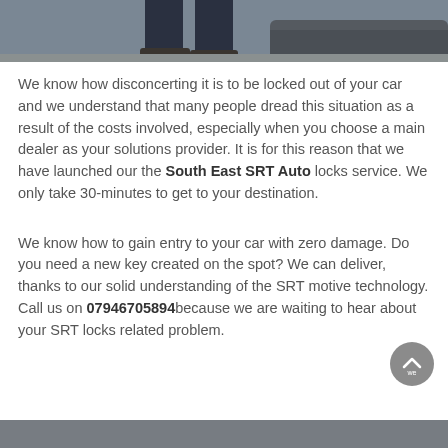[Figure (photo): Bottom portion of a photo showing a person's legs in dark jeans and shoes standing next to a dark-colored car, viewed from low angle.]
We know how disconcerting it is to be locked out of your car and we understand that many people dread this situation as a result of the costs involved, especially when you choose a main dealer as your solutions provider. It is for this reason that we have launched our the South East SRT Auto locks service. We only take 30-minutes to get to your destination.
We know how to gain entry to your car with zero damage. Do you need a new key created on the spot? We can deliver, thanks to our solid understanding of the SRT motive technology. Call us on 07946705894 because we are waiting to hear about your SRT locks related problem.
[Figure (photo): Dark grey footer bar at the bottom of the page.]